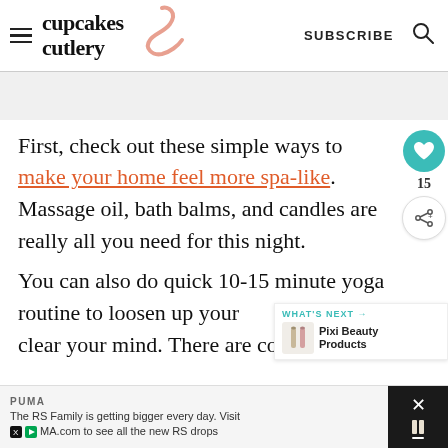cupcakes & cutlery — SUBSCRIBE
First, check out these simple ways to make your home feel more spa-like. Massage oil, bath balms, and candles are really all you need for this night.
You can also do quick 10-15 minute yoga routine to loosen up your clear your mind. There are countless
[Figure (infographic): What's Next widget showing Pixi Beauty Products with small product image]
PUMA — The RS Family is getting bigger every day. Visit MA.com to see all the new RS drops